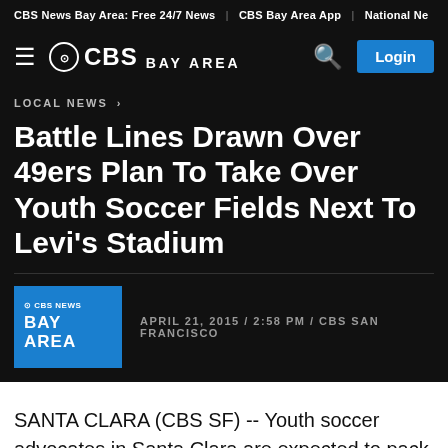CBS News Bay Area: Free 24/7 News | CBS Bay Area App | National Ne
[Figure (logo): CBS Bay Area logo with hamburger menu, search icon, and login button on dark background]
LOCAL NEWS >
Battle Lines Drawn Over 49ers Plan To Take Over Youth Soccer Fields Next To Levi's Stadium
APRIL 21, 2015 / 2:58 PM / CBS SAN FRANCISCO
SANTA CLARA (CBS SF) -- Youth soccer advocates in Santa Clara are expected to pack a meeting on a